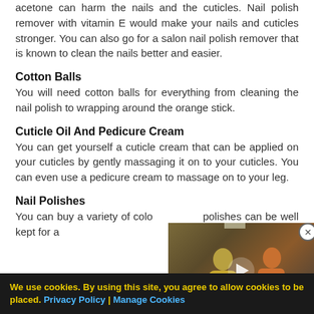acetone can harm the nails and the cuticles. Nail polish remover with vitamin E would make your nails and cuticles stronger. You can also go for a salon nail polish remover that is known to clean the nails better and easier.
Cotton Balls
You will need cotton balls for everything from cleaning the nail polish to wrapping around the orange stick.
Cuticle Oil And Pedicure Cream
You can get yourself a cuticle cream that can be applied on your cuticles by gently massaging it on to your cuticles. You can even use a pedicure cream to massage on to your leg.
Nail Polishes
You can buy a variety of colo... polishes can be well kept for a...
[Figure (photo): Two people talking in a corridor, one wearing yellow dress and one wearing orange shirt. Video player overlay with play button.]
We use cookies. By using this site, you agree to allow cookies to be placed. Privacy Policy | Manage Cookies